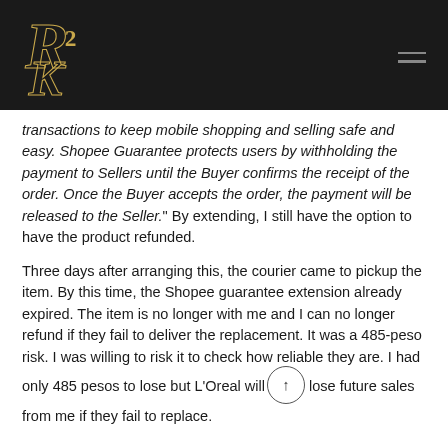[Figure (logo): R2K stylized golden logo on black header bar with hamburger menu icon]
transactions to keep mobile shopping and selling safe and easy. Shopee Guarantee protects users by withholding the payment to Sellers until the Buyer confirms the receipt of the order. Once the Buyer accepts the order, the payment will be released to the Seller." By extending, I still have the option to have the product refunded.
Three days after arranging this, the courier came to pickup the item. By this time, the Shopee guarantee extension already expired. The item is no longer with me and I can no longer refund if they fail to deliver the replacement. It was a 485-peso risk. I was willing to risk it to check how reliable they are. I had only 485 pesos to lose but L'Oreal will lose future sales from me if they fail to replace.